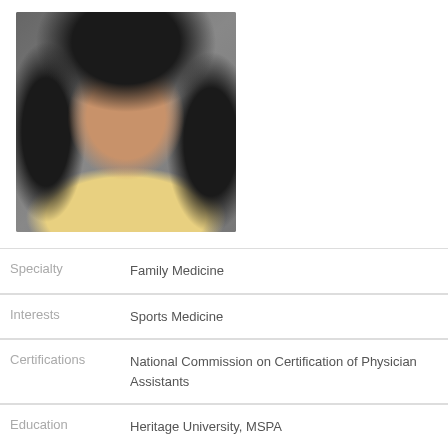[Figure (photo): Portrait photo of a woman with curly dark hair, smiling, wearing a yellow sweater, against a grey background]
| Field | Value |
| --- | --- |
| Specialty | Family Medicine |
| Interests | Sports Medicine |
| Certifications | National Commission on Certification of Physician Assistants |
| Education | Heritage University, MSPA |